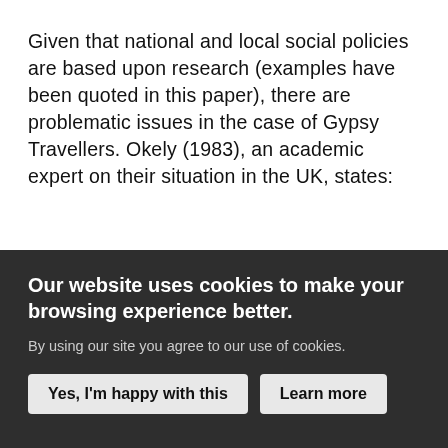Given that national and local social policies are based upon research (examples have been quoted in this paper), there are problematic issues in the case of Gypsy Travellers. Okely (1983), an academic expert on their situation in the UK, states:
'Policy questions are inevitably set by those in power and restrict what needs to be learned; even research with the democratic and benevolent institutions will fail, if the questions of relevance are set by the uninformed.'
Our website uses cookies to make your browsing experience better.
By using our site you agree to our use of cookies.
Yes, I'm happy with this
Learn more